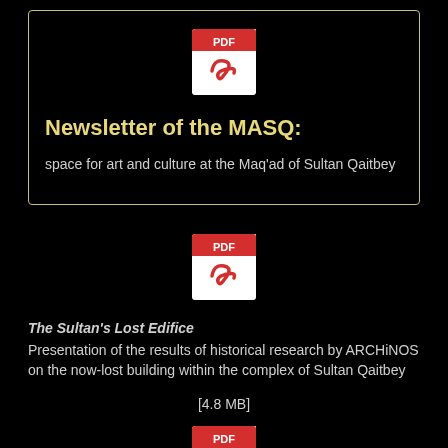[Figure (logo): PDF file icon with red background and white Acrobat symbol, with 'PDF' label at top]
Newsletter of the MASQ:
space for art and culture at the Maq'ad of Sultan Qaitbey
[Figure (logo): PDF file icon with red background and white Acrobat symbol, with 'PDF' label at top]
The Sultan's Lost Edifice
Presentation of the results of historical research by ARCHiNOS on the now-lost building within the complex of Sultan Qaitbey
[4.8 MB]
[Figure (logo): PDF file icon with red background and white Acrobat symbol, with 'PDF' label at top]